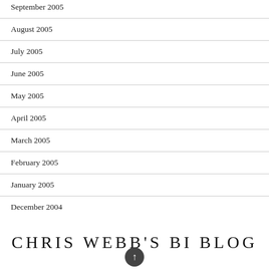September 2005
August 2005
July 2005
June 2005
May 2005
April 2005
March 2005
February 2005
January 2005
December 2004
CHRIS WEBB'S BI BLOG